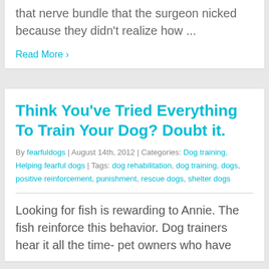that nerve bundle that the surgeon nicked because they didn't realize how ...
Read More ›
Think You've Tried Everything To Train Your Dog? Doubt it.
By fearfuldogs | August 14th, 2012 | Categories: Dog training, Helping fearful dogs | Tags: dog rehabilitation, dog training, dogs, positive reinforcement, punishment, rescue dogs, shelter dogs
Looking for fish is rewarding to Annie. The fish reinforce this behavior. Dog trainers hear it all the time- pet owners who have